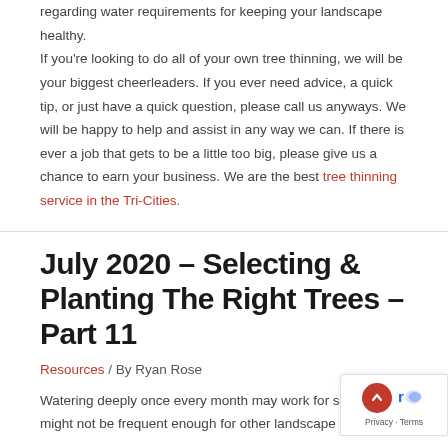regarding water requirements for keeping your landscape healthy. If you're looking to do all of your own tree thinning, we will be your biggest cheerleaders. If you ever need advice, a quick tip, or just have a quick question, please call us anyways. We will be happy to help and assist in any way we can. If there is ever a job that gets to be a little too big, please give us a chance to earn your business. We are the best tree thinning service in the Tri-Cities.
July 2020 – Selecting & Planting The Right Trees – Part 11
Resources / By Ryan Rose
Watering deeply once every month may work for some trees but might not be frequent enough for other landscape plants.